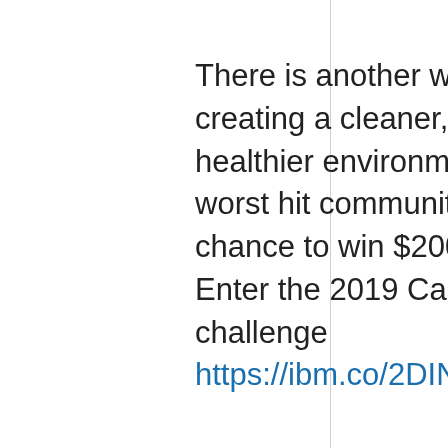There is another way to help in creating a cleaner, safer and healthier environment for the worst hit communities and a chance to win $200,000 USD. Enter the 2019 Call for Code challenge https://ibm.co/2DINsrC